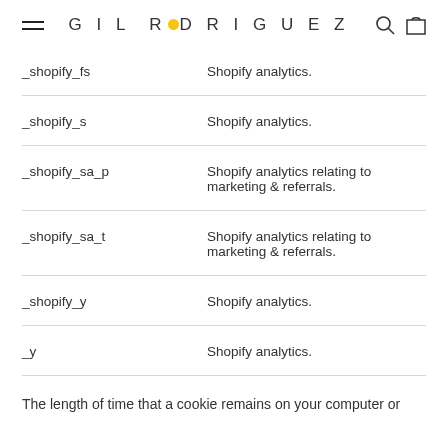GIL RODRIGUEZ
| Cookie | Description |
| --- | --- |
| _shopify_fs | Shopify analytics. |
| _shopify_s | Shopify analytics. |
| _shopify_sa_p | Shopify analytics relating to marketing & referrals. |
| _shopify_sa_t | Shopify analytics relating to marketing & referrals. |
| _shopify_y | Shopify analytics. |
| _y | Shopify analytics. |
The length of time that a cookie remains on your computer or